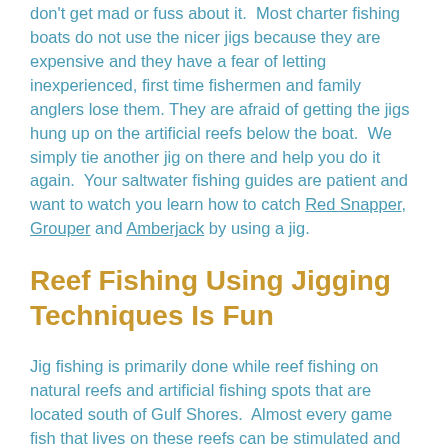don't get mad or fuss about it.  Most charter fishing boats do not use the nicer jigs because they are expensive and they have a fear of letting inexperienced, first time fishermen and family anglers lose them. They are afraid of getting the jigs hung up on the artificial reefs below the boat.  We simply tie another jig on there and help you do it again.  Your saltwater fishing guides are patient and want to watch you learn how to catch Red Snapper, Grouper and Amberjack by using a jig.
Reef Fishing Using Jigging Techniques Is Fun
Jig fishing is primarily done while reef fishing on natural reefs and artificial fishing spots that are located south of Gulf Shores.  Almost every game fish that lives on these reefs can be stimulated and